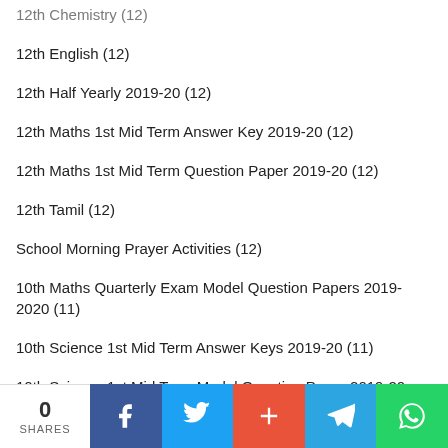12th Chemistry (12)
12th English (12)
12th Half Yearly 2019-20 (12)
12th Maths 1st Mid Term Answer Key 2019-20 (12)
12th Maths 1st Mid Term Question Paper 2019-20 (12)
12th Tamil (12)
School Morning Prayer Activities (12)
10th Maths Quarterly Exam Model Question Papers 2019-2020 (11)
10th Science 1st Mid Term Answer Keys 2019-20 (11)
10th Science 1st Mid Term Model Question Paper 2019-20 (11)
10th Social Science Half Yearly Question Paper 2019-2020 (11)
10th Tamil Quarterly Exam Question Papers 2019-2020 (11)
0 SHARES | Facebook | Twitter | Plus | Telegram | WhatsApp